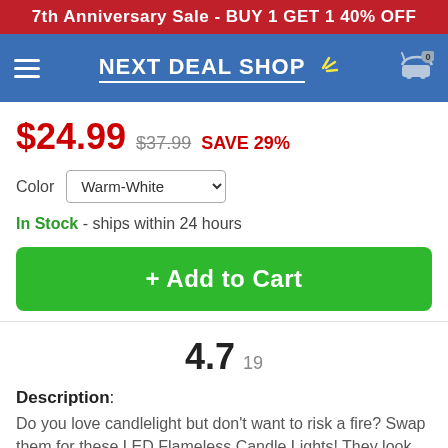7th Anniversary Sale - BUY 1 GET 1 40% OFF
[Figure (logo): Next Deal Shop logo with hamburger menu and cart icon on blue navbar]
$24.99  $37.99  SAVE 29%
Color  Warm-White
In Stock - ships within 24 hours
+ Add to Cart
4.7  19
Description:
Do you love candlelight but don't want to risk a fire? Swap them for these LED Flameless Candle Lights! They look like real candles and set the mood just right, bringing a different ambiance to your home. Prepare a candlelit